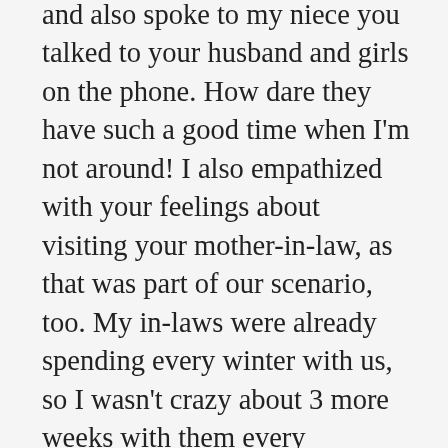and also spoke to my niece you talked to your husband and girls on the phone. How dare they have such a good time when I'm not around! I also empathized with your feelings about visiting your mother-in-law, as that was part of our scenario, too. My in-laws were already spending every winter with us, so I wasn't crazy about 3 more weeks with them every summer. I thought going to visit a friend part of the time was the perfect solution. Though they were really nice, I felt enough was enough. After the waterfall hike incident, we finally worked out that I would visit my friend at a separate time of year, and that helped a lot. We also didn't stay as long. Now we're retired, with